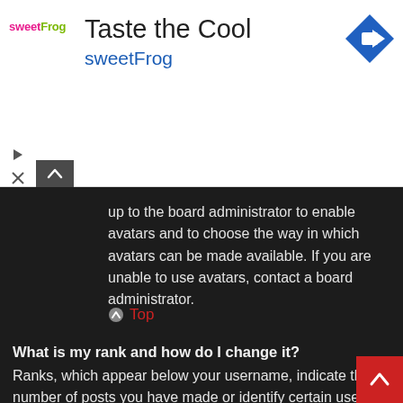[Figure (other): sweetFrog frozen yogurt advertisement banner with logo, 'Taste the Cool' headline, blue navigation arrow icon, and play/close controls]
up to the board administrator to enable avatars and to choose the way in which avatars can be made available. If you are unable to use avatars, contact a board administrator.
Top
What is my rank and how do I change it?
Ranks, which appear below your username, indicate the number of posts you have made or identify certain users, e.g. moderators and administrators. In general, you cannot directly change the wording of any board ranks as they are set by the board administrator. Please do not abuse the board by posting unnecessarily just to increase your rank. Most boards will not tolerate this and the moderator or administrator will simply lower your post count.